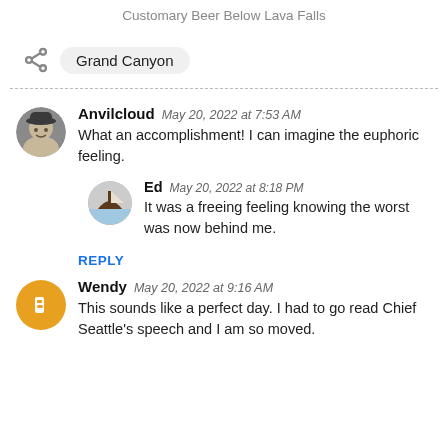Customary Beer Below Lava Falls
Grand Canyon
Anvilcloud  May 20, 2022 at 7:53 AM
What an accomplishment! I can imagine the euphoric feeling.
Ed  May 20, 2022 at 8:18 PM
It was a freeing feeling knowing the worst was now behind me.
REPLY
Wendy  May 20, 2022 at 9:16 AM
This sounds like a perfect day. I had to go read Chief Seattle's speech and I am so moved.